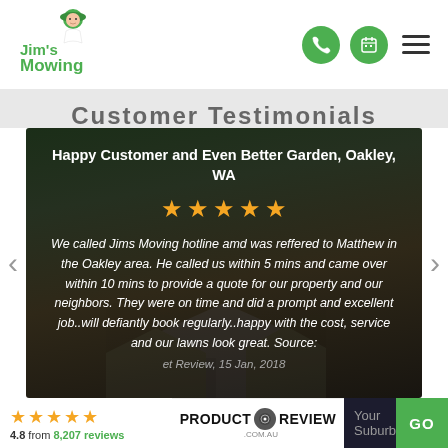[Figure (logo): Jim's Mowing logo with green cartoon man wearing hat, company name in green text]
[Figure (infographic): Header icons: green circle phone icon, green circle calendar icon, hamburger menu icon]
Customer Testimonials
[Figure (screenshot): Dark review card with house background image showing testimonial from Oakley WA]
Happy Customer and Even Better Garden, Oakley, WA
[Figure (infographic): 5 gold star rating inside review card]
We called Jims Moving hotline amd was reffered to Matthew in the Oakley area. He called us within 5 mins and came over within 10 mins to provide a quote for our property and our neighbors. They were on time and did a prompt and excellent job..will defiantly book regularly..happy with the cost, service and our lawns look great. Source: Product Review, 15 Jan, 2018
[Figure (infographic): 4.5 gold stars rating badge]
4.8 from 8,207 reviews
[Figure (logo): Product Review .com.au logo]
Your Suburb